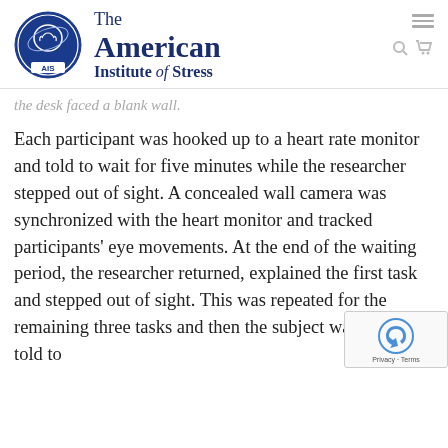The American Institute of Stress
the desk faced a blank wall.
Each participant was hooked up to a heart rate monitor and told to wait for five minutes while the researcher stepped out of sight. A concealed wall camera was synchronized with the heart monitor and tracked participants' eye movements. At the end of the waiting period, the researcher returned, explained the first task and stepped out of sight. This was repeated for the remaining three tasks and then the subject was again told to